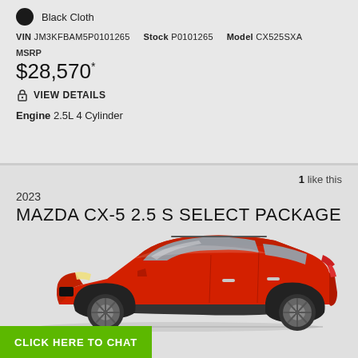Black Cloth
VIN JM3KFBAM5P0101265  Stock P0101265  Model CX525SXA
MSRP
$28,570*
VIEW DETAILS
Engine 2.5L 4 Cylinder
1 like this
2023
MAZDA CX-5 2.5 S SELECT PACKAGE
[Figure (photo): Red 2023 Mazda CX-5 SUV side profile view on a light gray background]
CLICK HERE TO CHAT